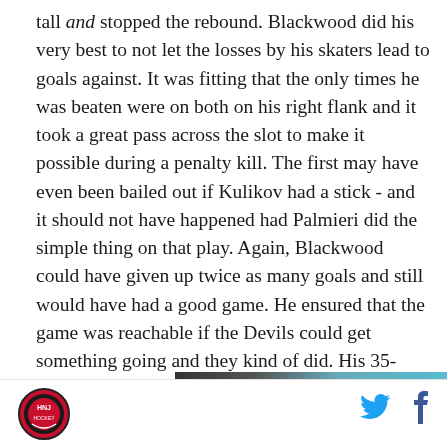tall and stopped the rebound. Blackwood did his very best to not let the losses by his skaters lead to goals against. It was fitting that the only times he was beaten were on both on his right flank and it took a great pass across the slot to make it possible during a penalty kill. The first may have even been bailed out if Kulikov had a stick - and it should not have happened had Palmieri did the simple thing on that play. Again, Blackwood could have given up twice as many goals and still would have had a good game. He ensured that the game was reachable if the Devils could get something going and they kind of did. His 35-save performance was fantastic.
[Figure (photo): Partial image visible at bottom of article, dark tones with teal/blue color bar]
[Figure (logo): Hockey NJ circular logo in footer, red and black design]